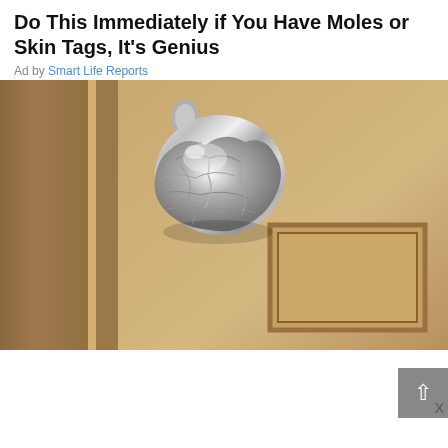Do This Immediately if You Have Moles or Skin Tags, It's Genius
Ad by Smart Life Reports
[Figure (photo): A door knob wrapped in crumpled aluminum foil on a wooden door]
Wrap Foil Around Your Doorknob at Night if Alone, Here's Why
Ad by Sogoodly